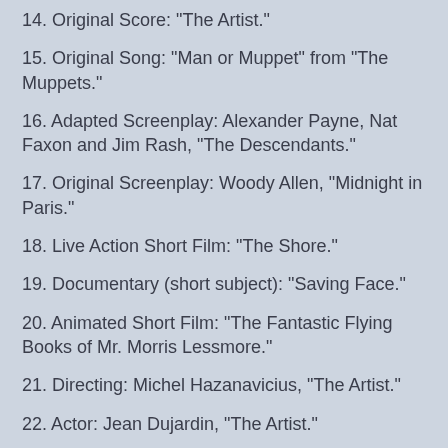14. Original Score: "The Artist."
15. Original Song: "Man or Muppet" from "The Muppets."
16. Adapted Screenplay: Alexander Payne, Nat Faxon and Jim Rash, "The Descendants."
17. Original Screenplay: Woody Allen, "Midnight in Paris."
18. Live Action Short Film: "The Shore."
19. Documentary (short subject): "Saving Face."
20. Animated Short Film: "The Fantastic Flying Books of Mr. Morris Lessmore."
21. Directing: Michel Hazanavicius, "The Artist."
22. Actor: Jean Dujardin, "The Artist."
23. Actress: Meryl Streep, "The Iron Lady."